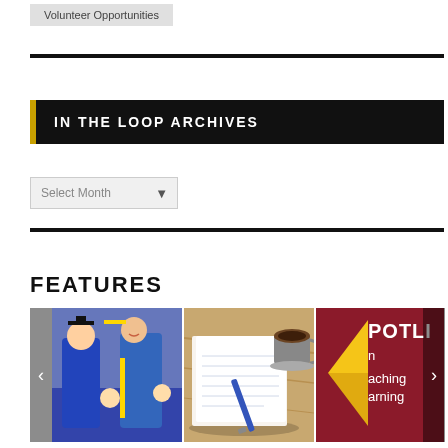Volunteer Opportunities
IN THE LOOP ARCHIVES
Select Month
FEATURES
[Figure (photo): Two people in academic regalia hugging at a graduation ceremony, smiling.]
[Figure (photo): A notebook open on a wooden table with a pen and a cup of coffee in the background.]
[Figure (photo): Partial view of a 'Spotlight on Teaching and Learning' graphic with maroon background and yellow triangle.]